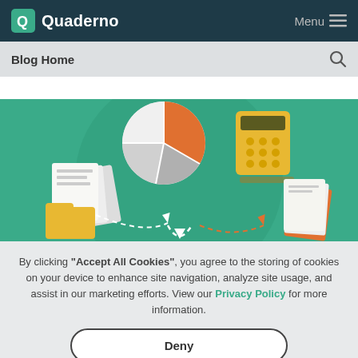Quaderno  Menu
Blog Home
[Figure (illustration): Illustration with teal background showing a pie chart, calculator, papers/invoices with orange and white dashed arrows suggesting a financial workflow]
By clicking "Accept All Cookies", you agree to the storing of cookies on your device to enhance site navigation, analyze site usage, and assist in our marketing efforts. View our Privacy Policy for more information.
Deny
Accept